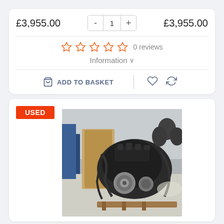£3,955.00  -  1  +  £3,955.00
☆☆☆☆☆  0 reviews
Information ∨
ADD TO BASKET
USED
[Figure (photo): Used car engine (dark, complex engine assembly with wiring harnesses, photographed in a warehouse/yard setting on a wooden pallet)]